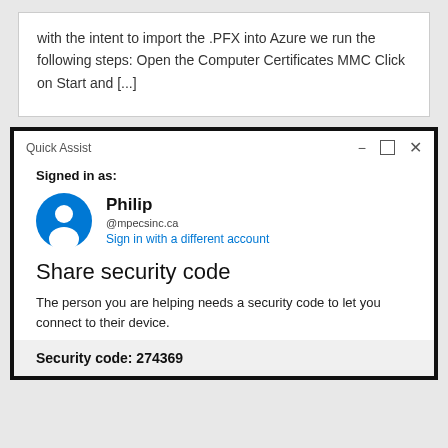with the intent to import the .PFX into Azure we run the following steps: Open the Computer Certificates MMC Click on Start and [...]
[Figure (screenshot): Quick Assist application window showing 'Signed in as: Philip @mpecsinc.ca' with a profile avatar, a 'Sign in with a different account' link, a 'Share security code' heading, descriptive text 'The person you are helping needs a security code to let you connect to their device.', and a partially visible 'Security code: 274369' bar.]